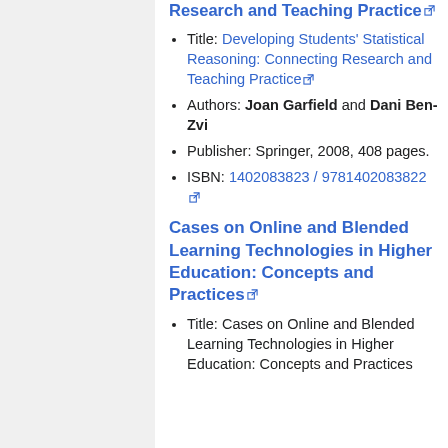Research and Teaching Practice
Title: Developing Students' Statistical Reasoning: Connecting Research and Teaching Practice
Authors: Joan Garfield and Dani Ben-Zvi
Publisher: Springer, 2008, 408 pages.
ISBN: 1402083823 / 9781402083822
Cases on Online and Blended Learning Technologies in Higher Education: Concepts and Practices
Title: Cases on Online and Blended Learning Technologies in Higher Education: Concepts and Practices